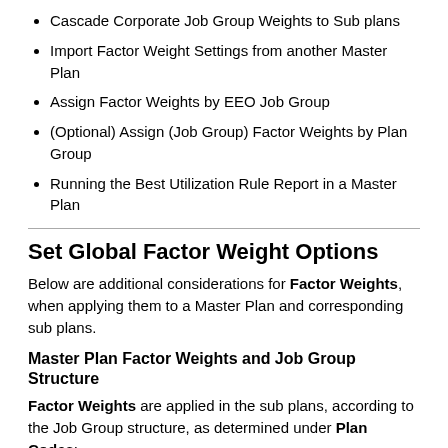Cascade Corporate Job Group Weights to Sub plans
Import Factor Weight Settings from another Master Plan
Assign Factor Weights by EEO Job Group
(Optional) Assign (Job Group) Factor Weights by Plan Group
Running the Best Utilization Rule Report in a Master Plan
Set Global Factor Weight Options
Below are additional considerations for Factor Weights, when applying them to a Master Plan and corresponding sub plans.
Master Plan Factor Weights and Job Group Structure
Factor Weights are applied in the sub plans, according to the Job Group structure, as determined under Plan Codes:
Corporate